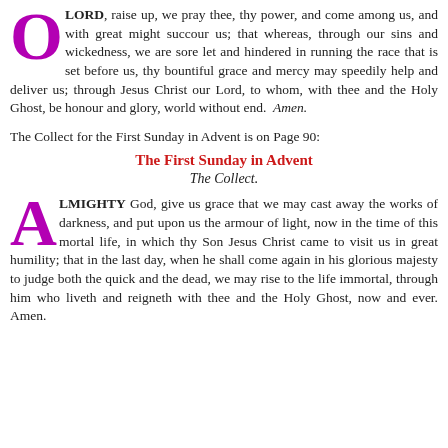O LORD, raise up, we pray thee, thy power, and come among us, and with great might succour us; that whereas, through our sins and wickedness, we are sore let and hindered in running the race that is set before us, thy bountiful grace and mercy may speedily help and deliver us; through Jesus Christ our Lord, to whom, with thee and the Holy Ghost, be honour and glory, world without end. Amen.
The Collect for the First Sunday in Advent is on Page 90:
The First Sunday in Advent
The Collect.
ALMIGHTY God, give us grace that we may cast away the works of darkness, and put upon us the armour of light, now in the time of this mortal life, in which thy Son Jesus Christ came to visit us in great humility; that in the last day, when he shall come again in his glorious majesty to judge both the quick and the dead, we may rise to the life immortal, through him who liveth and reigneth with thee and the Holy Ghost, now and ever. Amen.